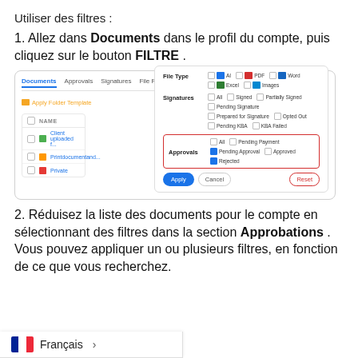Utiliser des filtres :
1. Allez dans Documents dans le profil du compte, puis cliquez sur le bouton FILTRE .
[Figure (screenshot): Screenshot of a document management interface showing the filter panel open with File Type, Signatures, and Approvals sections. The Approvals row is highlighted with a red border, with Pending Approval and Rejected checkboxes checked.]
2. Réduisez la liste des documents pour le compte en sélectionnant des filtres dans la section Approbations . Vous pouvez appliquer un ou plusieurs filtres, en fonction de ce que vous recherchez.
Français >